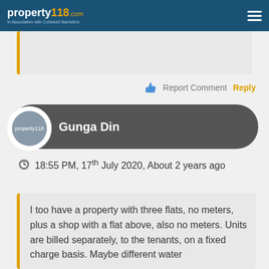property118.com — In Association with Cotswold Barristers
Report Comment  Reply
Gunga Din
18:55 PM, 17th July 2020, About 2 years ago
I too have a property with three flats, no meters, plus a shop with a flat above, also no meters. Units are billed separately, to the tenants, on a fixed charge basis. Maybe different water